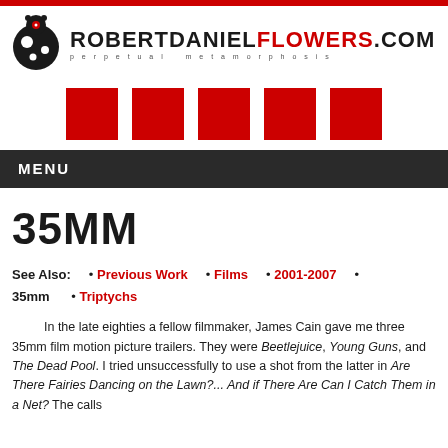[Figure (logo): robertdanielflowers.com logo with ladybug graphic and tagline 'Perpetual Metamorphosis']
[Figure (infographic): Five red navigation squares in a row]
MENU
35MM
See Also:   • Previous Work   • Films   • 2001-2007   •   35mm   • Triptychs
In the late eighties a fellow filmmaker, James Cain gave me three 35mm film motion picture trailers. They were Beetlejuice, Young Guns, and The Dead Pool. I tried unsuccessfully to use a shot from the latter in Are There Fairies Dancing on the Lawn?... And if There Are Can I Catch Them in a Net? The calls